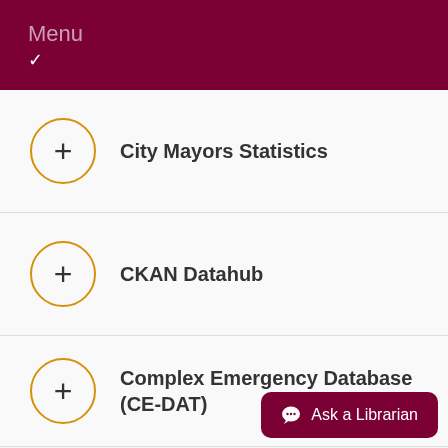Menu
City Mayors Statistics
CKAN Datahub
Complex Emergency Database (CE-DAT)
Ask a Librarian